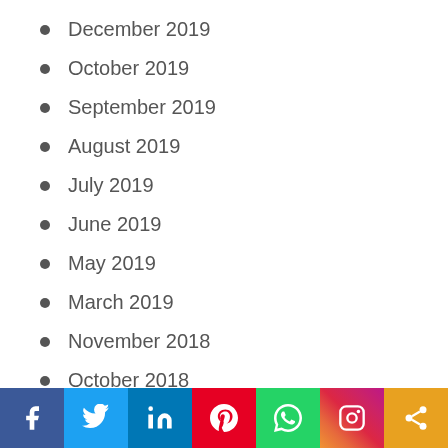December 2019
October 2019
September 2019
August 2019
July 2019
June 2019
May 2019
March 2019
November 2018
October 2018